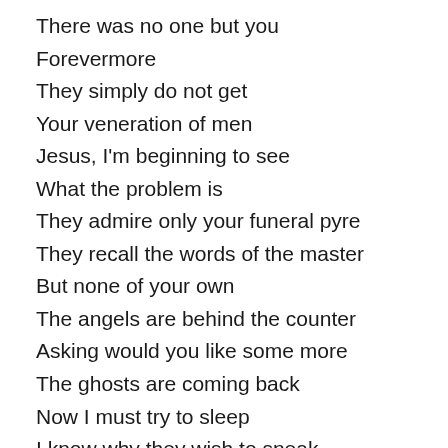There was no one but you
Forevermore
They simply do not get
Your veneration of men
Jesus, I'm beginning to see
What the problem is
They admire only your funeral pyre
They recall the words of the master
But none of your own
The angels are behind the counter
Asking would you like some more
The ghosts are coming back
Now I must try to sleep
I know why they wish to sneak